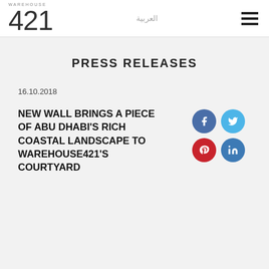WAREHOUSE 421 — header with logo, Arabic nav, hamburger menu
PRESS RELEASES
16.10.2018
NEW WALL BRINGS A PIECE OF ABU DHABI'S RICH COASTAL LANDSCAPE TO WAREHOUSE421'S COURTYARD
[Figure (infographic): Social media share buttons: Facebook (blue circle), Twitter (light blue circle), Pinterest (red circle), LinkedIn (dark blue circle) arranged in 2x2 grid]